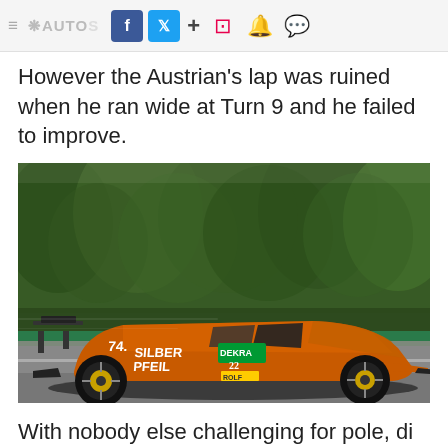AUTOSPORT + [social icons]
However the Austrian's lap was ruined when he ran wide at Turn 9 and he failed to improve.
[Figure (photo): Orange Mercedes DTM race car #14 with 'Silber Pfeil' livery and DEKRA/ROLF sponsorship racing on track with blurred green tree background]
With nobody else challenging for pole, di Resta ended